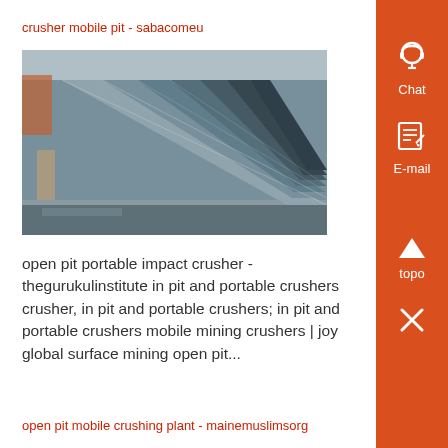crusher mobile pit - sabacomeu
[Figure (photo): Industrial metal crusher or conveyor components lined up in a factory/warehouse setting, showing large metallic angled structures in a row.]
open pit portable impact crusher - thegurukulinstitute in pit and portable crushers crusher, in pit and portable crushers; in pit and portable crushers mobile mining crushers | joy global surface mining open pit...
open pit mobile crushing plant - mainemuslimsorg